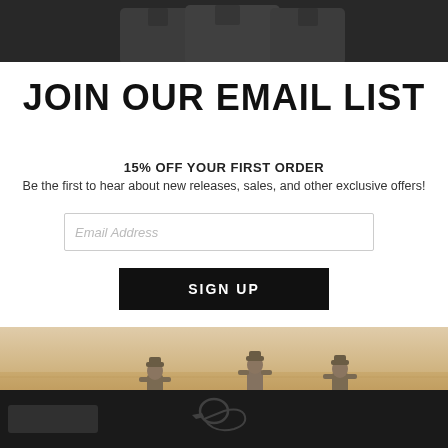[Figure (photo): Dark background with jacket/outerwear products shown at top of page]
JOIN OUR EMAIL LIST
15% OFF YOUR FIRST ORDER
Be the first to hear about new releases, sales, and other exclusive offers!
[Figure (screenshot): Email Address input field]
[Figure (screenshot): SIGN UP button]
[Figure (photo): Three hunters walking through an open field with dogs]
[Figure (logo): Brand logo at bottom of page on dark background]